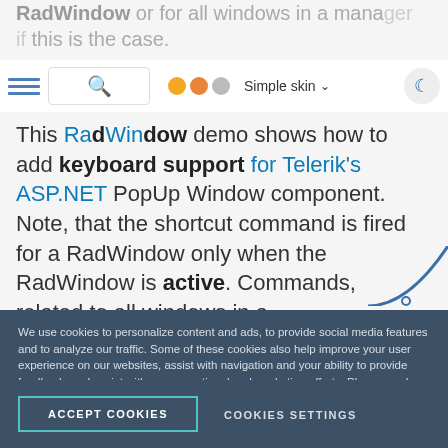RadWindow or for all windows in a manager if this is the case.
[Figure (screenshot): Browser toolbar with list icon, search box with magnifying glass, orange and gray dots, Simple skin dropdown, and night mode button]
This RadWindow demo shows how to add keyboard support for Telerik's ASP.NET PopUp Window component. Note, that the shortcut command is fired for a RadWindow only when the RadWindow is active. Commands, related to all windows in a RadWindowManager such as Tile, operate with all the windows which belong to the
We use cookies to personalize content and ads, to provide social media features and to analyze our traffic. Some of these cookies also help improve your user experience on our websites, assist with navigation and your ability to provide feedback, and assist with our promotional and marketing efforts. Please read our Cookie Policy for a more detailed description and click on the settings button to customize how the site uses cookies for you.
ACCEPT COOKIES
COOKIES SETTINGS